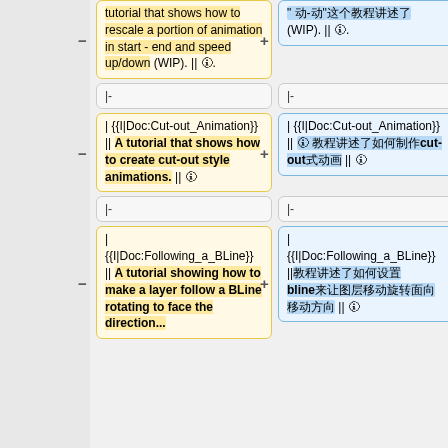tutorial that shows how to rescale a portion of animation in start - end and speed up/down (WIP). || 🛈.
"  " -"" ... (WIP). || 🛈.
|-
|-
| {{I|Doc:Cut-out_Animation}} || A tutorial that shows how to create cut-out style animations. || 🛈
| {{I|Doc:Cut-out_Animation}} || 🛈 cut-out 🛈 || 🛈
|-
|-
| {{I|Doc:Following_a_BLine}} || A tutorial showing how to make a layer follow a BLine rotating to face the direction...
| {{I|Doc:Following_a_BLine}} || 🛈 bline 🛈 || 🛈